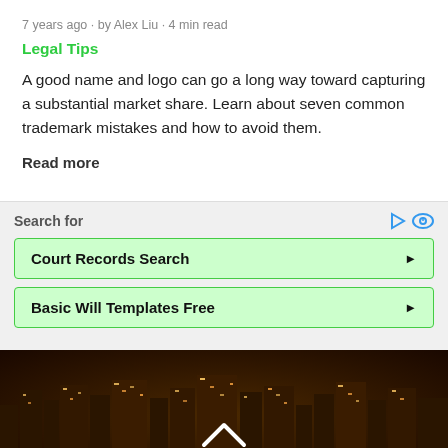7 years ago · by Alex Liu · 4 min read
Legal Tips
A good name and logo can go a long way toward capturing a substantial market share. Learn about seven common trademark mistakes and how to avoid them.
Read more
Search for
Court Records Search
Basic Will Templates Free
[Figure (photo): Nighttime aerial view of a city skyline with lights in buildings, dark reddish-brown tones, with a white upward chevron/arrow icon in the center.]